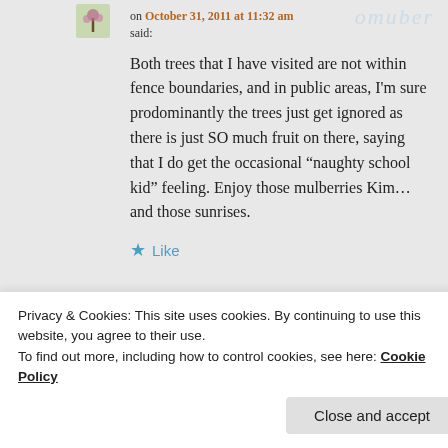on October 31, 2011 at 11:32 am said:
Both trees that I have visited are not within fence boundaries, and in public areas, I'm sure prodominantly the trees just get ignored as there is just SO much fruit on there, saying that I do get the occasional “naughty school kid” feeling. Enjoy those mulberries Kim...and those sunrises.
Like
Reply
Privacy & Cookies: This site uses cookies. By continuing to use this website, you agree to their use.
To find out more, including how to control cookies, see here: Cookie Policy